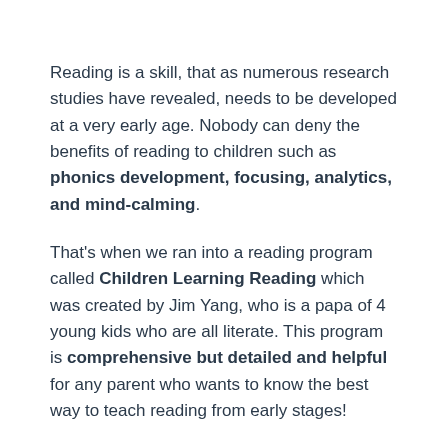Reading is a skill, that as numerous research studies have revealed, needs to be developed at a very early age. Nobody can deny the benefits of reading to children such as phonics development, focusing, analytics, and mind-calming.
That's when we ran into a reading program called Children Learning Reading which was created by Jim Yang, who is a papa of 4 young kids who are all literate. This program is comprehensive but detailed and helpful for any parent who wants to know the best way to teach reading from early stages!
In this article, I would explain my experience to bring you a complete Children learning reading